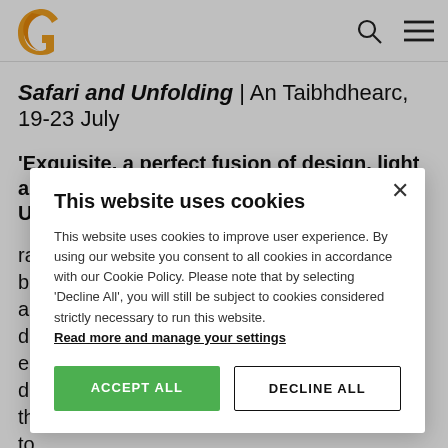Safari and Unfolding | An Taibhdhearc, 19-23 July
Safari and Unfolding | An Taibhdhearc, 19-23 July
'Exquisite, a perfect fusion of design, light and movement.' DANCE AUSTRALIA [On Unfolding]
...ralian ...ble bill. ...anese as the ...d of ...eres amongst ...d movement, ...th shifting ...to
This website uses cookies

This website uses cookies to improve user experience. By using our website you consent to all cookies in accordance with our Cookie Policy. Please note that by selecting 'Decline All', you will still be subject to cookies considered strictly necessary to run this website. Read more and manage your settings

ACCEPT ALL    DECLINE ALL